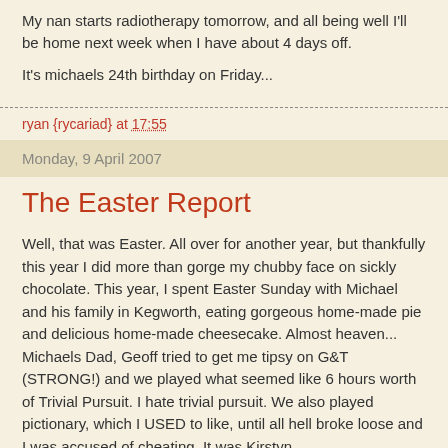My nan starts radiotherapy tomorrow, and all being well I'll be home next week when I have about 4 days off.
It's michaels 24th birthday on Friday...
ryan {rycariad} at 17:55
Monday, 9 April 2007
The Easter Report
Well, that was Easter. All over for another year, but thankfully this year I did more than gorge my chubby face on sickly chocolate. This year, I spent Easter Sunday with Michael and his family in Kegworth, eating gorgeous home-made pie and delicious home-made cheesecake. Almost heaven... Michaels Dad, Geoff tried to get me tipsy on G&T (STRONG!) and we played what seemed like 6 hours worth of Trivial Pursuit. I hate trivial pursuit. We also played pictionary, which I USED to like, until all hell broke loose and I was accused of cheating. It was Kirstyn